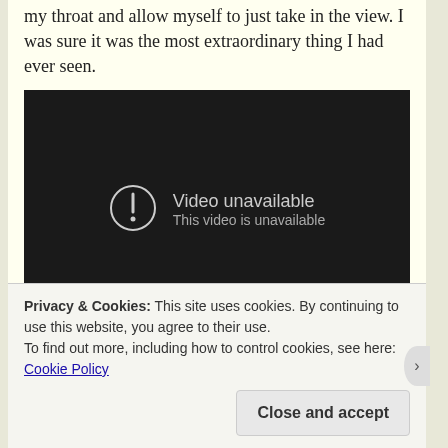my throat and allow myself to just take in the view. I was sure it was the most extraordinary thing I had ever seen.
[Figure (screenshot): Embedded video player showing 'Video unavailable - This video is unavailable' message on a dark background, with a YouTube play button in the bottom right corner.]
Privacy & Cookies: This site uses cookies. By continuing to use this website, you agree to their use.
To find out more, including how to control cookies, see here: Cookie Policy